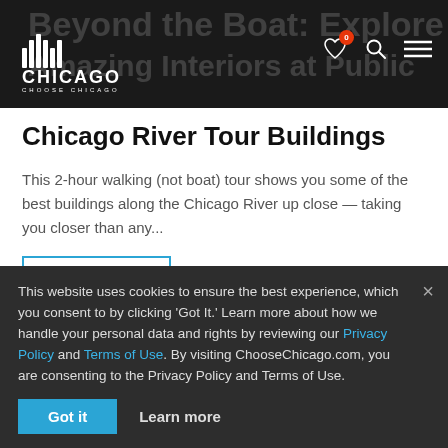Chicago Choose Chicago — navigation header with logo, heart icon (badge: 0), search, and menu
Chicago River Tour Buildings
This 2-hour walking (not boat) tour shows you some of the best buildings along the Chicago River up close — taking you closer than any...
Event details
Sunday September 18
1:00 p.m. – 3:00 p.m.
This website uses cookies to ensure the best experience, which you consent to by clicking 'Got It.' Learn more about how we handle your personal data and rights by reviewing our Privacy Policy and Terms of Use. By visiting ChooseChicago.com, you are consenting to the Privacy Policy and Terms of Use.
Got it   Learn more